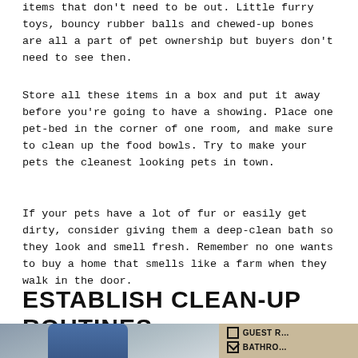items that don't need to be out. Little furry toys, bouncy rubber balls and chewed-up bones are all a part of pet ownership but buyers don't need to see then.
Store all these items in a box and put it away before you're going to have a showing. Place one pet-bed in the corner of one room, and make sure to clean up the food bowls. Try to make your pets the cleanest looking pets in town.
If your pets have a lot of fur or easily get dirty, consider giving them a deep-clean bath so they look and smell fresh. Remember no one wants to buy a home that smells like a farm when they walk in the door.
ESTABLISH CLEAN-UP ROUTINES
[Figure (photo): A person in a blue hoodie carrying or moving boxes, with a cardboard checklist visible showing GUEST R... and BATHRO... items with checkboxes]